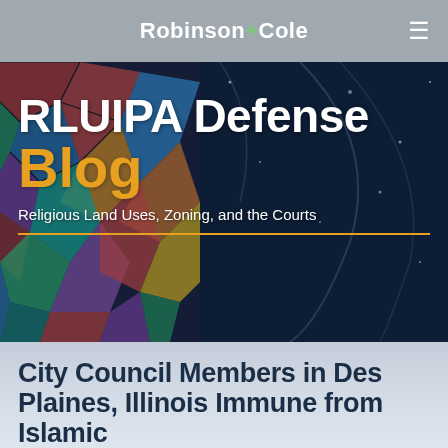Robinson+Cole
RLUIPA Defense Blog
Religious Land Uses, Zoning, and the Courts
City Council Members in Des Plaines, Illinois Immune from Islamic